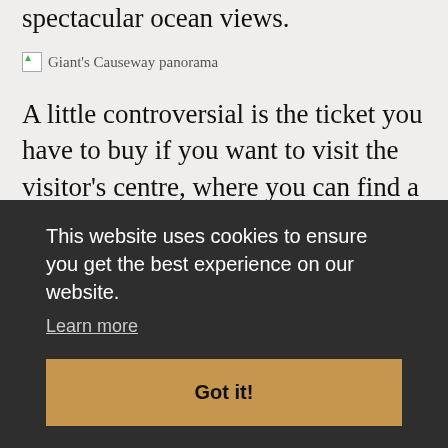spectacular ocean views.
[Figure (photo): Giant's Causeway panorama (broken image placeholder)]
A little controversial is the ticket you have to buy if you want to visit the visitor's centre, where you can find a cafe, souvenir shop, and toilets. The ticket price also includes the audio
This website uses cookies to ensure you get the best experience on our website. Learn more Got it!
there is a hotel/restaurant right next to the